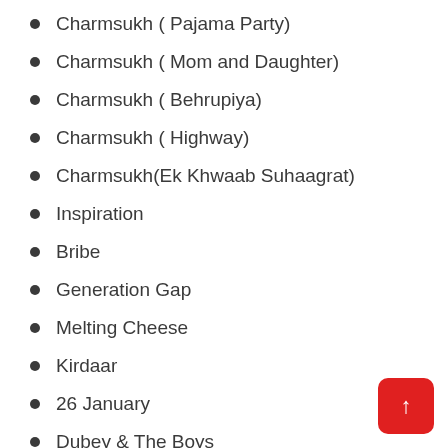Charmsukh ( Pajama Party)
Charmsukh ( Mom and Daughter)
Charmsukh ( Behrupiya)
Charmsukh ( Highway)
Charmsukh(Ek Khwaab Suhaagrat)
Inspiration
Bribe
Generation Gap
Melting Cheese
Kirdaar
26 January
Dubey & The Boys
The Producer